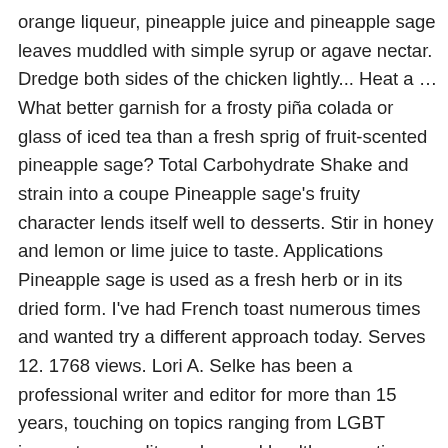orange liqueur, pineapple juice and pineapple sage leaves muddled with simple syrup or agave nectar. Dredge both sides of the chicken lightly... Heat a … What better garnish for a frosty piña colada or glass of iced tea than a fresh sprig of fruit-scented pineapple sage? Total Carbohydrate Shake and strain into a coupe Pineapple sage's fruity character lends itself well to desserts. Stir in honey and lemon or lime juice to taste. Applications Pineapple sage is used as a fresh herb or in its dried form. I've had French toast numerous times and wanted try a different approach today. Serves 12. 1768 views. Lori A. Selke has been a professional writer and editor for more than 15 years, touching on topics ranging from LGBT issues to sexuality and sexual health, parenting, alternative health, travel, and food and cooking. FOR SEASONING: 3 1/2- to 4-pound chicken (organic, if possible) 2 cloves garlic. For each drink: Muddle the pineapple, sage and 1/2 ounce of the simple syrup in a shaker with the handle of a wooden spoon. sage or possibly pineapple sage, chopped, 1 pkt filo dough, 1. Remove pot... stuffing mixes, applesauce, pineapple, marmalade and brandy. And that is when pineapple sage … Or try pound cake with minced